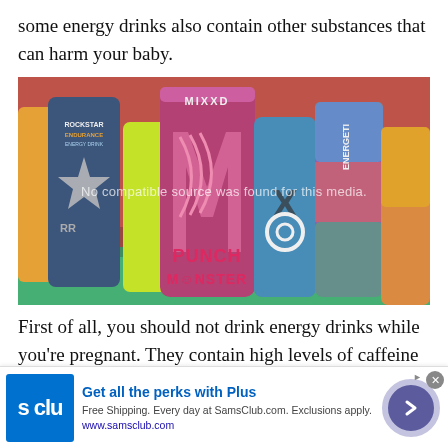some energy drinks also contain other substances that can harm your baby.
[Figure (photo): Collection of energy drink cans including Monster Punch MIXXD in the foreground and Rockstar Endurance and other cans in the background, on a red and green surface.]
First of all, you should not drink energy drinks while you're pregnant. They contain high levels of caffeine
[Figure (infographic): Advertisement banner for Sam's Club Plus membership. Shows 's clu' logo, headline 'Get all the perks with Plus', body text 'Free Shipping. Every day at SamsClub.com. Exclusions apply.' and URL www.samsclub.com, with a circular arrow button on the right.]